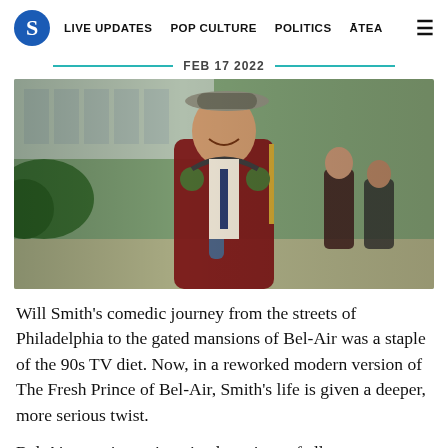S  LIVE UPDATES  POP CULTURE  POLITICS  ĀTEA  ☰
FEB 17 2022
[Figure (photo): Young man in a burgundy school blazer with gold trim, wearing headphones around his neck and a backpack, smiling broadly outdoors on a school campus. Two students visible in background.]
Will Smith's comedic journey from the streets of Philadelphia to the gated mansions of Bel-Air was a staple of the 90s TV diet. Now, in a reworked modern version of The Fresh Prince of Bel-Air, Smith's life is given a deeper, more serious twist.
Bel-Air promises reimagined versions of all our